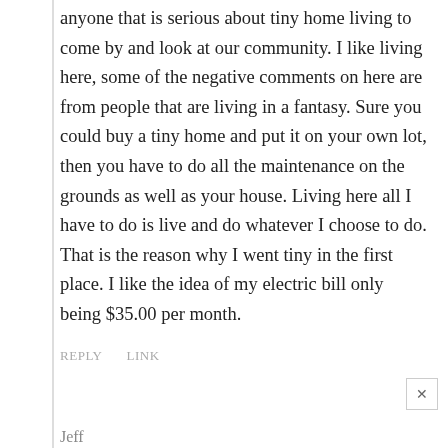anyone that is serious about tiny home living to come by and look at our community. I like living here, some of the negative comments on here are from people that are living in a fantasy. Sure you could buy a tiny home and put it on your own lot, then you have to do all the maintenance on the grounds as well as your house. Living here all I have to do is live and do whatever I choose to do. That is the reason why I went tiny in the first place. I like the idea of my electric bill only being $35.00 per month.
REPLY    LINK
Jeff